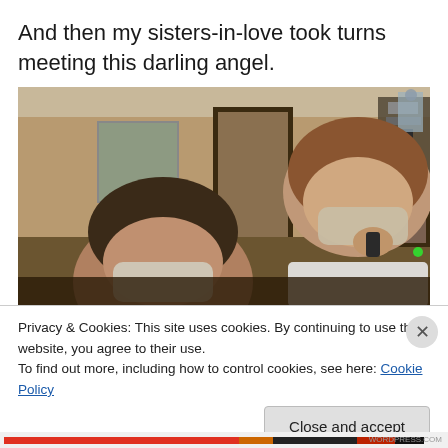And then my sisters-in-love took turns meeting this darling angel.
[Figure (photo): Hospital room photo showing two people wearing face masks, one leaning over toward the other. Medical equipment and papers visible in the background.]
Privacy & Cookies: This site uses cookies. By continuing to use this website, you agree to their use.
To find out more, including how to control cookies, see here: Cookie Policy
Close and accept